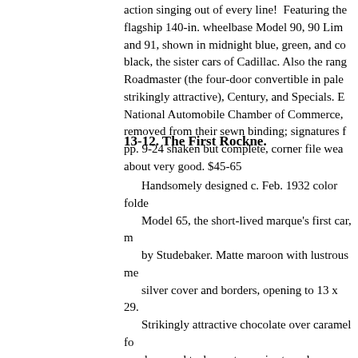action singing out of every line! Featuring the flagship 140-in. wheelbase Model 90, 90 Limousine and 91, shown in midnight blue, green, and coral black, the sister cars of Cadillac. Also the range Roadmaster (the four-door convertible in pale strikingly attractive), Century, and Specials. E National Automobile Chamber of Commerce, removed from their sewn binding; signatures pp. 9-24 shaken but complete, corner file wear about very good. $45-65
13-12. The First Rockne.
Handsomely designed c. Feb. 1932 color folde Model 65, the short-lived marque's first car, m by Studebaker. Matte maroon with lustrous me silver cover and borders, opening to 13 x 29. Strikingly attractive chocolate over caramel fo door, and teal over turquoise two-door. Smalle mint over avocado coupe, and bright yellow convertible roadster with red pinstriping. Phot Knute Rockne. In the same month that footbal coach Rockne was made sales promotion man of Studebaker, he was lost in a plane crash. Th marque thus began its brief 14-month run as a